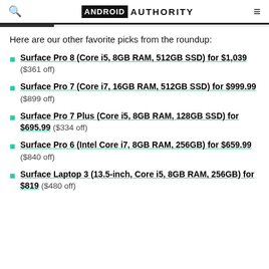ANDROID AUTHORITY
Here are our other favorite picks from the roundup:
Surface Pro 8 (Core i5, 8GB RAM, 512GB SSD) for $1,039 ($361 off)
Surface Pro 7 (Core i7, 16GB RAM, 512GB SSD) for $999.99 ($899 off)
Surface Pro 7 Plus (Core i5, 8GB RAM, 128GB SSD) for $695.99 ($334 off)
Surface Pro 6 (Intel Core i7, 8GB RAM, 256GB) for $659.99 ($840 off)
Surface Laptop 3 (13.5-inch, Core i5, 8GB RAM, 256GB) for $819 ($480 off)